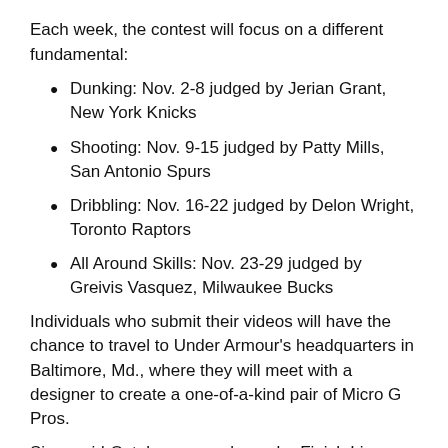Each week, the contest will focus on a different fundamental:
Dunking: Nov. 2-8 judged by Jerian Grant, New York Knicks
Shooting: Nov. 9-15 judged by Patty Mills, San Antonio Spurs
Dribbling: Nov. 16-22 judged by Delon Wright, Toronto Raptors
All Around Skills: Nov. 23-29 judged by Greivis Vasquez, Milwaukee Bucks
Individuals who submit their videos will have the chance to travel to Under Armour’s headquarters in Baltimore, Md., where they will meet with a designer to create a one-of-a-kind pair of Micro G Pros.
Since mid-October, several popular Finish Line sneaker influencers have teased the campaign. These influencers, along with the